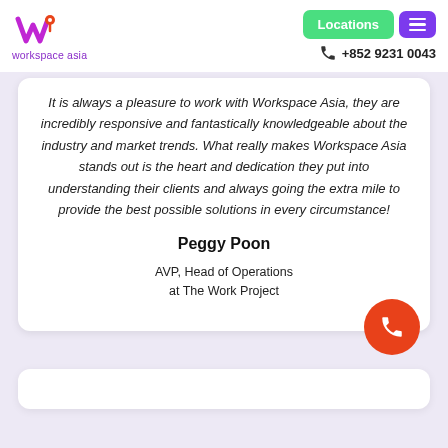[Figure (logo): Workspace Asia logo with purple 'W' and red location pin icon, text 'workspace asia' below in purple]
Locations  +852 9231 0043
It is always a pleasure to work with Workspace Asia, they are incredibly responsive and fantastically knowledgeable about the industry and market trends. What really makes Workspace Asia stands out is the heart and dedication they put into understanding their clients and always going the extra mile to provide the best possible solutions in every circumstance!
Peggy Poon
AVP, Head of Operations at The Work Project